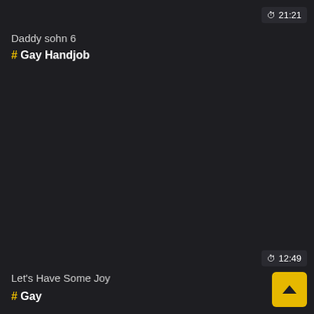⏱ 21:21
Daddy sohn 6
# Gay Handjob
⏱ 12:49
Let's Have Some Joy
# Gay